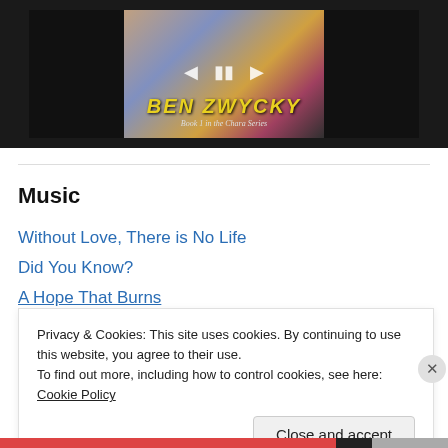[Figure (screenshot): Book cover media player with BEN ZWYCKY title and 'Book 1 in the Chara Series' subtitle, with playback controls (back, pause, forward arrows)]
Music
Without Love, There is No Life
Did You Know?
A Hope That Burns
Privacy & Cookies: This site uses cookies. By continuing to use this website, you agree to their use.
To find out more, including how to control cookies, see here: Cookie Policy
Close and accept